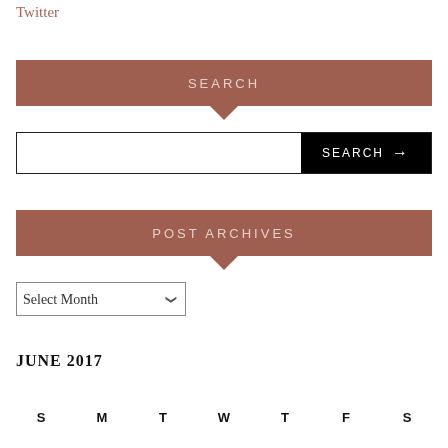Twitter
SEARCH
[Figure (screenshot): Search input box with white text field and black SEARCH button with arrow]
POST ARCHIVES
Select Month
JUNE 2017
| S | M | T | W | T | F | S |
| --- | --- | --- | --- | --- | --- | --- |